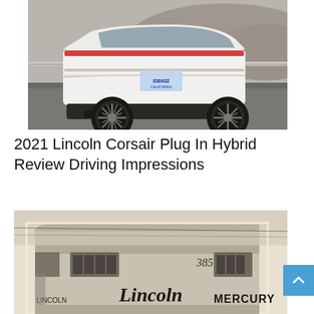[Figure (photo): Rear three-quarter view of a white 2021 Lincoln Corsair Plug-In Hybrid SUV parked on a paved surface with hills in the background.]
2021 Lincoln Corsair Plug In Hybrid Review Driving Impressions
[Figure (photo): Black and white vintage photograph of a Lincoln Mercury dealership building with art deco architecture, address number 385 visible, and 'Lincoln' in script lettering and 'MERCURY' in block letters on the facade.]